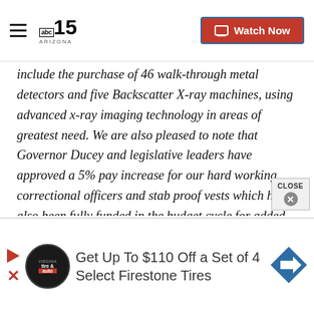ABC 15 Arizona — Watch Now
include the purchase of 46 walk-through metal detectors and five Backscatter X-ray machines, using advanced x-ray imaging technology in areas of greatest need. We are also pleased to note that Governor Ducey and legislative leaders have approved a 5% pay increase for our hard working correctional officers and stab proof vests which have also been fully funded in the budget cycle for added officer safety. As COVID-19 restrictions have been eased, we will also better be able to deploy officers department wide through the use of overtime to mitigate any staffing
[Figure (screenshot): Advertisement banner: tire and auto logo circle, text 'Get Up To $110 Off a Set of 4 Select Firestone Tires', blue arrow sign, play and close controls]